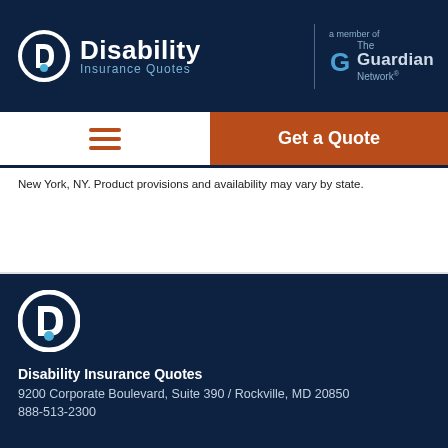[Figure (logo): Disability Insurance Quotes logo with 'D' icon, white text on dark navy background, with 'a member of The Guardian Network' branding on the right]
[Figure (other): Navigation bar with hamburger menu icon on left and orange 'Get a Quote' button on right]
New York, NY. Product provisions and availability may vary by state.
2022-140682 Exp: 7/26/24
[Figure (logo): Disability Insurance Quotes logo (circular D icon) in white on dark navy footer]
Disability Insurance Quotes
9200 Corporate Boulevard, Suite 390  /  Rockville, MD 20850
888-513-2300